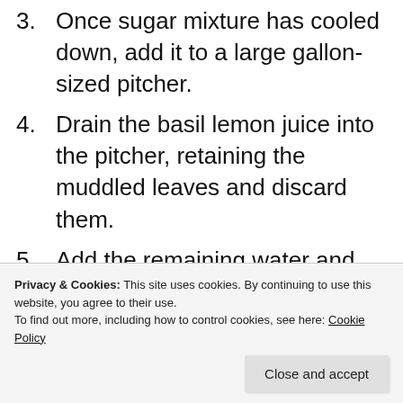3. Once sugar mixture has cooled down, add it to a large gallon-sized pitcher.
4. Drain the basil lemon juice into the pitcher, retaining the muddled leaves and discard them.
5. Add the remaining water and stir until mixed well. Now would be a good time to try it and add any [continues below] ready to serve, garnish with fresh
Privacy & Cookies: This site uses cookies. By continuing to use this website, you agree to their use. To find out more, including how to control cookies, see here: Cookie Policy
Close and accept